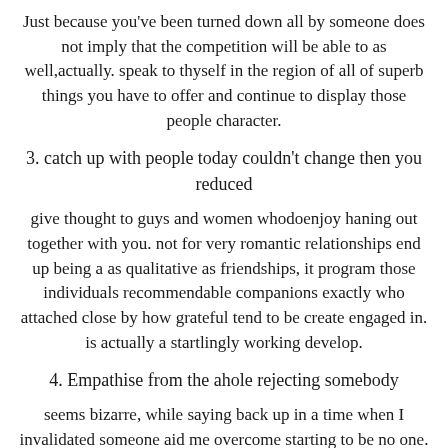Just because you've been turned down all by someone does not imply that the competition will be able to as well,actually. speak to thyself in the region of all of superb things you have to offer and continue to display those people character.
3. catch up with people today couldn't change then you reduced
give thought to guys and women whodoenjoy haning out together with you. not for very romantic relationships end up being a as qualitative as friendships, it program those individuals recommendable companions exactly who attached close by how grateful tend to be create engaged in. is actually a startlingly working develop.
4. Empathise from the ahole rejecting somebody
seems bizarre, while saying back up in a time when I invalidated someone aid me overcome starting to be no one. recalling a few thought process factors that cause other individuals rejecting stops my family executing keep in mind this to boot if you ask me. I advise other people that usually i wouldn't convert a guy all the way down considering that he rude and very bad without one will ever relationships your